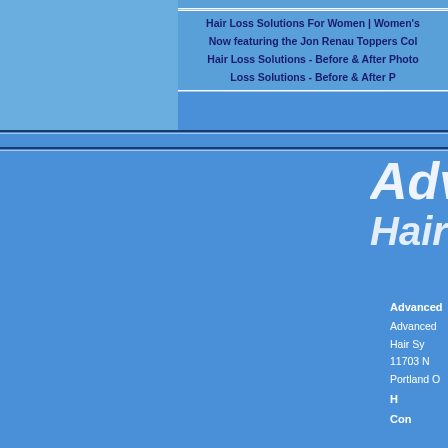[Figure (screenshot): Website screenshot of Advanced Hair Systems. Top section has a lighter blue rectangle on the left and navigation/link text on the right with blue background. Below is a large blue background with an italic white logo text 'Adva' and 'Hair S' (partially visible). Below the logo is contact information including company name, address in Portland, and navigation links.]
Hair Loss Solutions For Women | Women's
Now featuring the Jon Renau Toppers Col
Hair Loss Solutions - Before & After Photo
Loss Solutions - Before & After P
Advanced
Hair S
Advanced
Advanced Hair Sy
11703 N
Portland O
H
Con